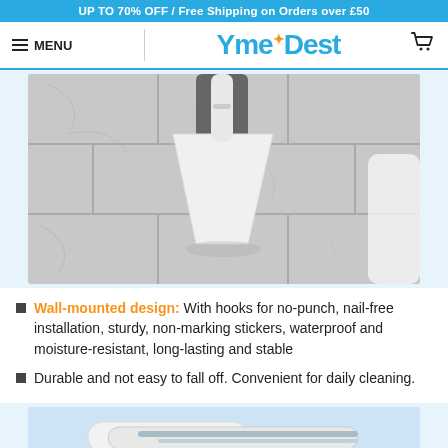UP TO 70% OFF / Free Shipping on Orders over £50
[Figure (logo): YmeBest logo with blue text and orange star dot, hamburger menu icon and shopping cart icon]
[Figure (photo): Toilet brush wall-mounted holder on gray marble tile floor, view from above showing white triangular brush base]
Wall-mounted design: With hooks for no-punch, nail-free installation, sturdy, non-marking stickers, waterproof and moisture-resistant, long-lasting and stable
Durable and not easy to fall off. Convenient for daily cleaning.
[Figure (photo): Close-up of white product handles/components on light blue background]